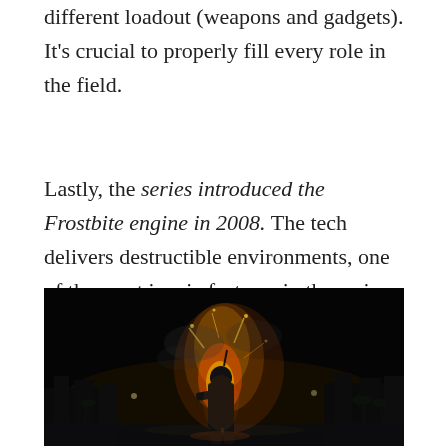different loadout (weapons and gadgets). It's crucial to properly fill every role in the field.
Lastly, the series introduced the Frostbite engine in 2008. The tech delivers destructible environments, one of the most iconic features in the series.
[Figure (photo): A soldier in military gear standing amid explosions and fire at night, with a dark background showing city silhouettes and palm trees — likely a Battlefield 3 promotional image.]